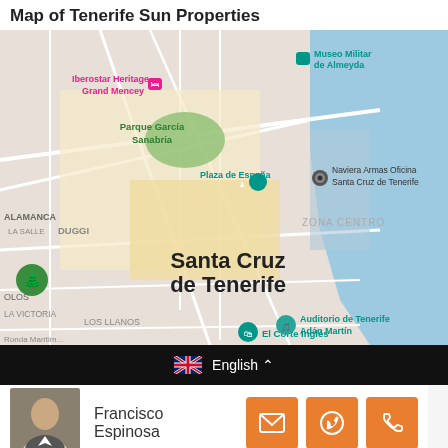Map of Tenerife Sun Properties
[Figure (map): Google Maps view of Santa Cruz de Tenerife, Spain, showing landmarks including Iberostar Heritage Grand Mencey, Museo Militar de Almeyda, Parque García Sanabria, Plaza de España, Naviera Armas Oficina Santa Cruz de Tenerife, Zona Centro, Santa Cruz de Tenerife label, El Corte Inglés, and Auditorio de Tenerife Adán Martín. Neighborhoods: Salamanca, La Salle, Duggi, Los Llanos, La Victoria, Olos.]
English
Francisco Espinosa